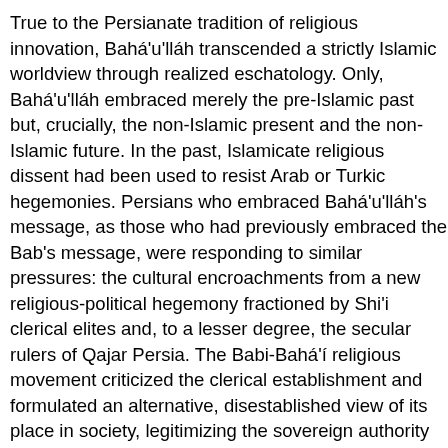True to the Persianate tradition of religious innovation, Bahá'u'lláh transcended a strictly Islamic worldview through realized eschatology. Only, Bahá'u'lláh embraced merely the pre-Islamic past but, crucially, the non-Islamic present and the non-Islamic future. In the past, Islamicate religious dissent had been used to resist Arab or Turkic hegemonies. Persians who embraced Bahá'u'lláh's message, as those who had previously embraced the Bab's message, were responding to similar pressures: the cultural encroachments from a new religious-political hegemony fractioned by Shi'i clerical elites and, to a lesser degree, the secular rulers of Qajar Persia. The Babi-Bahá'í religious movement criticized the clerical establishment and formulated an alternative, disestablished view of its place in society, legitimizing the sovereign authority independently of clerical authority.
For the first time, however, equally strong pressures on identity came from outside the Islamicate world altogether: the Western world, whose expansion was not merely a military but insidious assertion of cultural hegemony in the form of Empire, modernity, and globalization. The Bahá'í teachings gave nineteenth-century Persians and others a vehicle to resist the cultural (hence social and political) hegemonic encroachments of the intruding Western world. The Bahá'í teachings could appro...